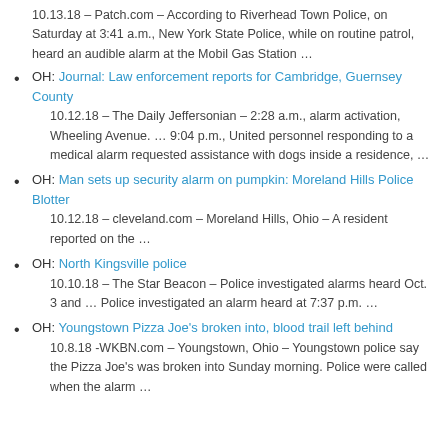10.13.18 – Patch.com – According to Riverhead Town Police, on Saturday at 3:41 a.m., New York State Police, while on routine patrol, heard an audible alarm at the Mobil Gas Station …
OH: Journal: Law enforcement reports for Cambridge, Guernsey County
10.12.18 – The Daily Jeffersonian – 2:28 a.m., alarm activation, Wheeling Avenue. … 9:04 p.m., United personnel responding to a medical alarm requested assistance with dogs inside a residence, …
OH: Man sets up security alarm on pumpkin: Moreland Hills Police Blotter
10.12.18 – cleveland.com – Moreland Hills, Ohio – A resident reported on the …
OH: North Kingsville police
10.10.18 – The Star Beacon – Police investigated alarms heard Oct. 3 and … Police investigated an alarm heard at 7:37 p.m. …
OH: Youngstown Pizza Joe's broken into, blood trail left behind
10.8.18 -WKBN.com – Youngstown, Ohio – Youngstown police say the Pizza Joe's was broken into Sunday morning. Police were called when the alarm …